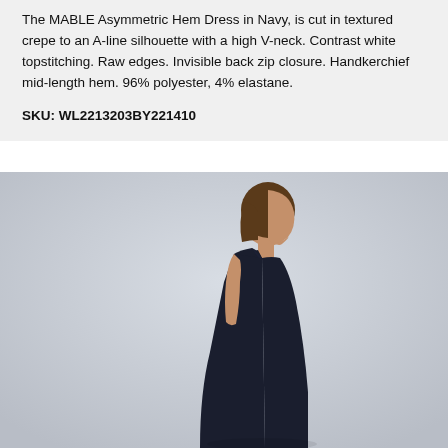The MABLE Asymmetric Hem Dress in Navy, is cut in textured crepe to an A-line silhouette with a high V-neck. Contrast white topstitching. Raw edges. Invisible back zip closure. Handkerchief mid-length hem. 96% polyester, 4% elastane.
SKU: WL2213203BY221410
[Figure (photo): A female model viewed from the side (profile view), wearing a sleeveless navy A-line dress with a high V-neck. She has short brown hair. The background is light grey. The dress reaches mid-length.]